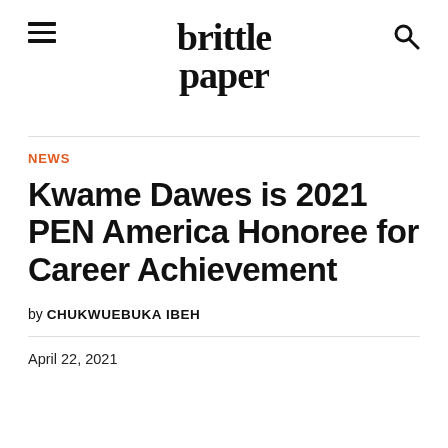brittle paper
NEWS
Kwame Dawes is 2021 PEN America Honoree for Career Achievement
by CHUKWUEBUKA IBEH
April 22, 2021